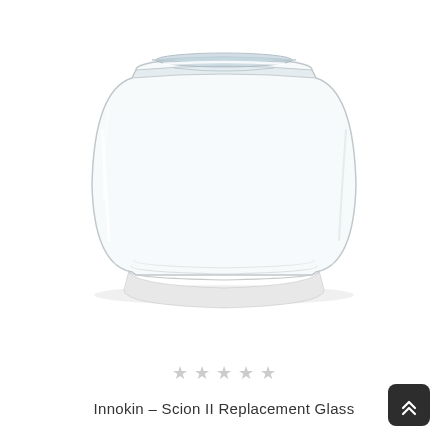[Figure (photo): A clear glass replacement tank/tube for an electronic cigarette atomizer. The glass has a bulge/bubble shape with a wider middle section and narrower threaded base. It is transparent with a frosted appearance, shown on a white background.]
★★★★★
Innokin – Scion II Replacement Glass